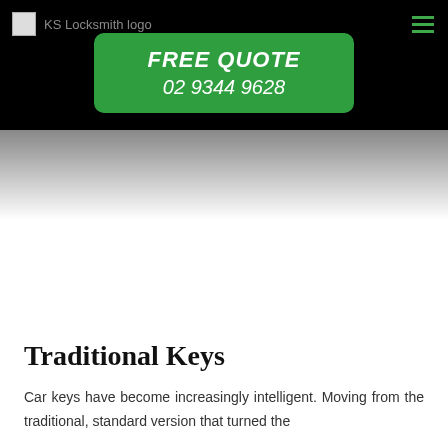KS Locksmith logo
[Figure (other): Green rounded rectangle CTA button with text FREE QUOTE and phone number 02 9344 9628 on black background header]
Traditional Keys
Car keys have become increasingly intelligent. Moving from the traditional, standard version that turned the